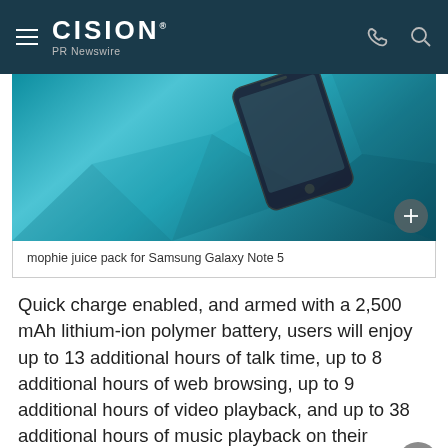CISION PR Newswire
[Figure (photo): Photo of mophie juice pack for Samsung Galaxy Note 5, showing the phone on a blue geometric/teal background]
mophie juice pack for Samsung Galaxy Note 5
Quick charge enabled, and armed with a 2,500 mAh lithium-ion polymer battery, users will enjoy up to 13 additional hours of talk time, up to 8 additional hours of web browsing, up to 9 additional hours of video playback, and up to 38 additional hours of music playback on their Samsung Galaxy Note5.